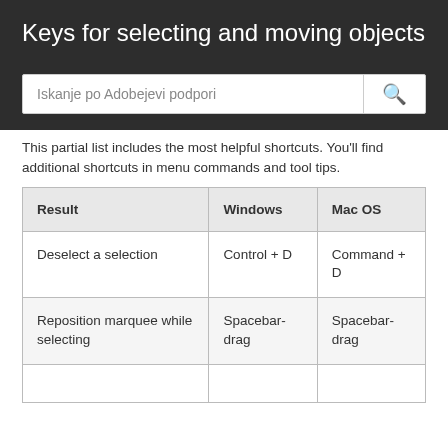Keys for selecting and moving objects
Iskanje po Adobejevi podpori
This partial list includes the most helpful shortcuts. You'll find additional shortcuts in menu commands and tool tips.
| Result | Windows | Mac OS |
| --- | --- | --- |
| Deselect a selection | Control + D | Command + D |
| Reposition marquee while selecting | Spacebar-drag | Spacebar-drag |
|  |  |  |